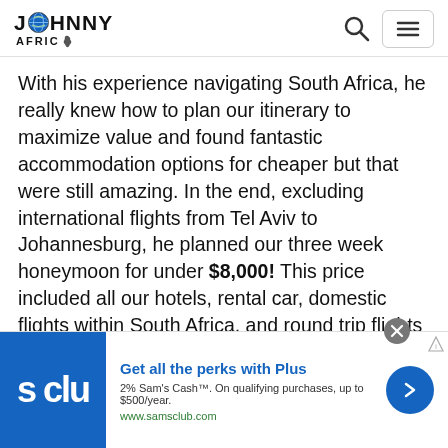Johnny Africa
With his experience navigating South Africa, he really knew how to plan our itinerary to maximize value and found fantastic accommodation options for cheaper but that were still amazing. In the end, excluding international flights from Tel Aviv to Johannesburg, he planned our three week honeymoon for under $8,000! This price included all our hotels, rental car, domestic flights within South Africa, and round trip flights
[Figure (infographic): Sam's Club advertisement banner: 'Get all the perks with Plus. 2% Sam's Cash™. On qualifying purchases, up to $500/year. www.samsclub.com']